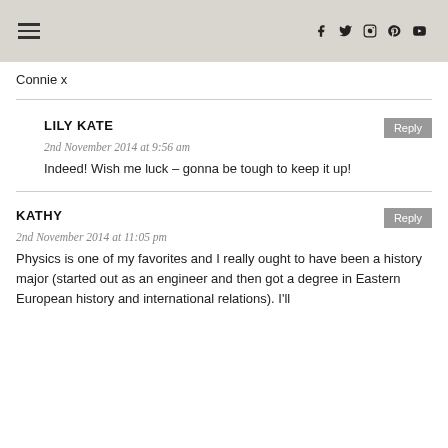[navigation header with hamburger menu and social icons: f, twitter, instagram, pinterest, youtube]
Connie x
LILY KATE
2nd November 2014 at 9:56 am
Indeed! Wish me luck – gonna be tough to keep it up!
KATHY
2nd November 2014 at 11:05 pm
Physics is one of my favorites and I really ought to have been a history major (started out as an engineer and then got a degree in Eastern European history and international relations). I'll